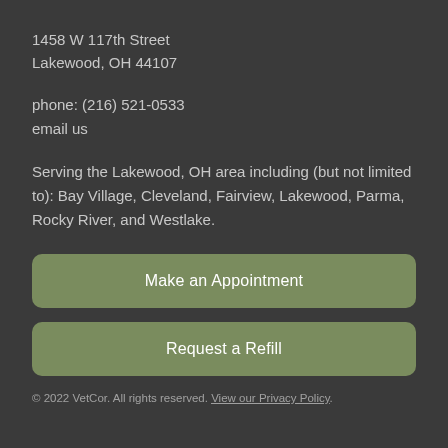1458 W 117th Street
Lakewood, OH 44107
phone: (216) 521-0533
email us
Serving the Lakewood, OH area including (but not limited to): Bay Village, Cleveland, Fairview, Lakewood, Parma, Rocky River, and Westlake.
Make an Appointment
Request a Refill
© 2022 VetCor. All rights reserved. View our Privacy Policy.